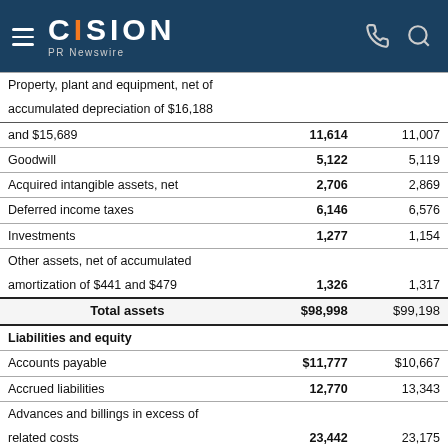CISION PR Newswire
|  | Current | Prior |
| --- | --- | --- |
| Property, plant and equipment, net of accumulated depreciation of $16,188 and $15,689 | 11,614 | 11,007 |
| Goodwill | 5,122 | 5,119 |
| Acquired intangible assets, net | 2,706 | 2,869 |
| Deferred income taxes | 6,146 | 6,576 |
| Investments | 1,277 | 1,154 |
| Other assets, net of accumulated amortization of $441 and $479 | 1,326 | 1,317 |
| Total assets | $98,998 | $99,198 |
| Liabilities and equity |  |  |
| Accounts payable | $11,777 | $10,667 |
| Accrued liabilities | 12,770 | 13,343 |
| Advances and billings in excess of related costs | 23,442 | 23,175 |
| Deferred income taxes and income taxes payable | 9,205 | 8,6— |
| Short-term debt and current portion of long-term debt | 614 | 929 |